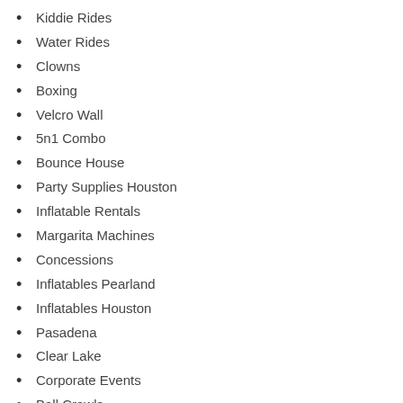Kiddie Rides
Water Rides
Clowns
Boxing
Velcro Wall
5n1 Combo
Bounce House
Party Supplies Houston
Inflatable Rentals
Margarita Machines
Concessions
Inflatables Pearland
Inflatables Houston
Pasadena
Clear Lake
Corporate Events
Ball Crawls
School Carnivals
Carnival
Cheap Inflatables